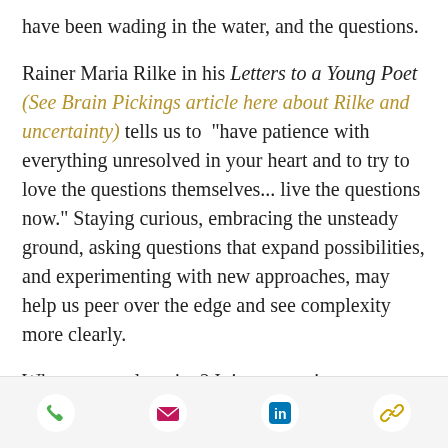have been wading in the water, and the questions.
Rainer Maria Rilke in his Letters to a Young Poet (See Brain Pickings article here about Rilke and uncertainty) tells us to “have patience with everything unresolved in your heart and to try to love the questions themselves... live the questions now.” Staying curious, embracing the unsteady ground, asking questions that expand possibilities, and experimenting with new approaches, may help us peer over the edge and see complexity more clearly.
What are you learning? It is a great time
[Figure (infographic): Bottom toolbar with four icons: green phone, magenta/pink envelope, blue LinkedIn 'in' logo, and gold/yellow chain link icon]